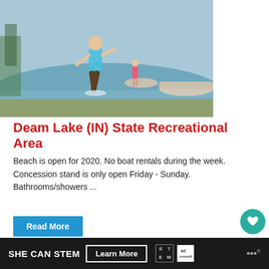[Figure (photo): Child in blue life vest splashing in shallow water near a boat dock, another child visible in the background near a rowboat.]
Deam Lake (IN) State Recreational Area
Beach is open for 2020. No boat rentals during the week. Concession stand is only open Friday - Sunday. Bathrooms/showers ...
Read More
[Figure (photo): Colorful mural showing Louisville Public Art & Murals text with floral designs in teal, yellow, blue and pink on a dark background.]
SHE CAN STEM   Learn More